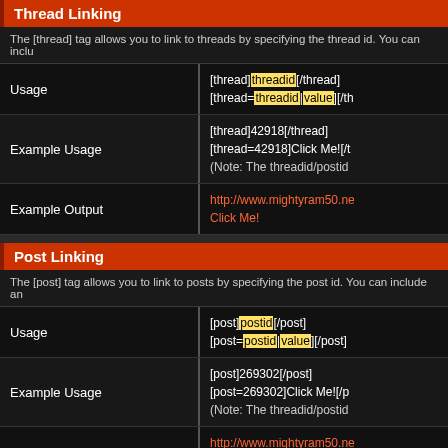Thread Linking
The [thread] tag allows you to link to threads by specifying the thread id. You can inclu
|  |  |
| --- | --- |
| Usage | [thread]threadid[/thread]
[thread=threadid|value][/th |
| Example Usage | [thread]42918[/thread]
[thread=42918]Click Me![/t
(Note: The threadid/postid |
| Example Output | http://www.mightyram50.ne
Click Me! |
Post Linking
The [post] tag allows you to link to posts by specifying the post id. You can include an
|  |  |
| --- | --- |
| Usage | [post]postid[/post]
[post=postid|value][/post] |
| Example Usage | [post]269302[/post]
[post=269302]Click Me![/p
(Note: The threadid/postid |
| Example Output | http://www.mightyram50.ne
Click Me! |
Bulleted Lists
The [list] tag allows you to create simple, bulleted lists without specifying an option. W